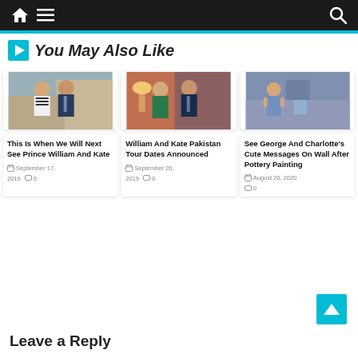Navigation bar with home, menu, and search icons
You May Also Like
[Figure (photo): Kate and Prince William walking outdoors, Kate in striped top]
This Is When We Will Next See Prince William And Kate
September 17, 2019  0
[Figure (photo): William and Kate standing indoors, Kate in green dress]
William And Kate Pakistan Tour Dates Announced
September 20, 2019  0
[Figure (photo): Prince George and Princess Charlotte clapping outdoors]
See George And Charlotte's Cute Messages On Wall After Pottery Painting
August 20, 2020  0
Leave a Reply